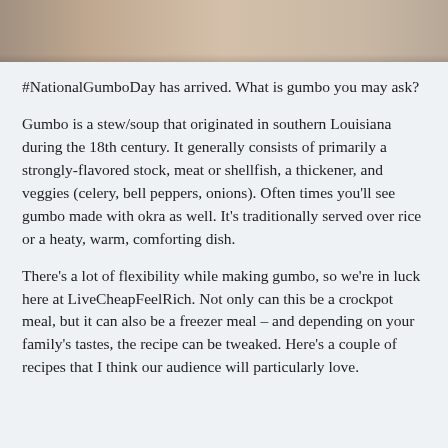[Figure (photo): Partial photo of a dish or kitchen scene, shown as a cropped strip at the top of the page]
#NationalGumboDay has arrived. What is gumbo you may ask?
Gumbo is a stew/soup that originated in southern Louisiana during the 18th century. It generally consists of primarily a strongly-flavored stock, meat or shellfish, a thickener, and veggies (celery, bell peppers, onions). Often times you'll see gumbo made with okra as well. It's traditionally served over rice or a heaty, warm, comforting dish.
There's a lot of flexibility while making gumbo, so we're in luck here at LiveCheapFeelRich. Not only can this be a crockpot meal, but it can also be a freezer meal – and depending on your family's tastes, the recipe can be tweaked. Here's a couple of recipes that I think our audience will particularly love.